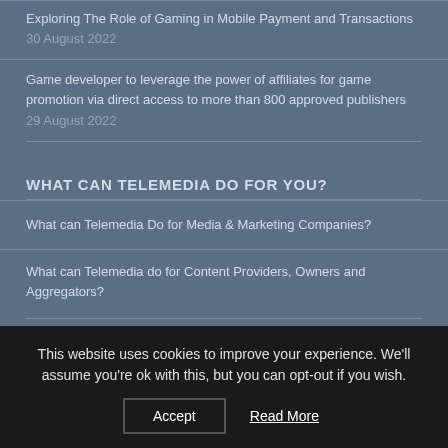Exploring The Role of Gaming in Mobile Payment and Transactions 30 August 2022
Game developer to leverage the power of affiliates for game promotion via direct access to more than 800 approved publishers 29 August 2022
WHAT CAN TELEMEDIA DO FOR YOU?
What can Telemedia Do for Media & Marketing Companies?
What can Telemedia do for Content Providers, Owners and Aggregators?
This website uses cookies to improve your experience. We'll assume you're ok with this, but you can opt-out if you wish. Accept Read More